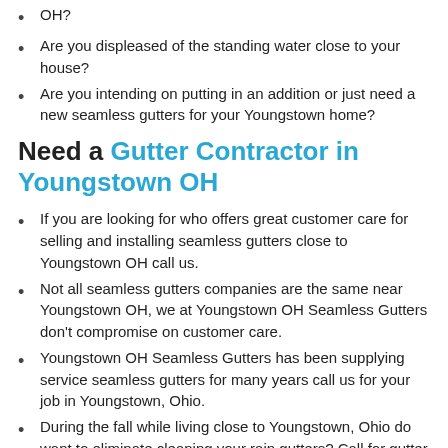OH?
Are you displeased of the standing water close to your house?
Are you intending on putting in an addition or just need a new seamless gutters for your Youngstown home?
Need a Gutter Contractor in Youngstown OH
If you are looking for who offers great customer care for selling and installing seamless gutters close to Youngstown OH call us.
Not all seamless gutters companies are the same near Youngstown OH, we at Youngstown OH Seamless Gutters don’t compromise on customer care.
Youngstown OH Seamless Gutters has been supplying service seamless gutters for many years call us for your job in Youngstown, Ohio.
During the fall while living close to Youngstown, Ohio do want to eliminate cleaning your rain gutters? Call for gutter leaf protection for your Youngstown, Ohio home.
Do you have seamless gutters on your residential property? Get a estimate now with Youngstown Seamless Gutters.
We phoned for a price bid for a seamless gutters cost within